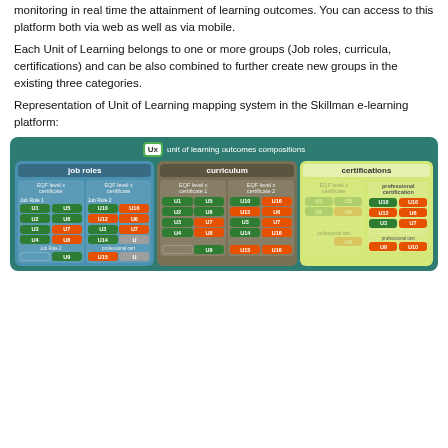monitoring in real time the attainment of learning outcomes. You can access to this platform both via web as well as via mobile.
Each Unit of Learning belongs to one or more groups (Job roles, curricula, certifications) and can be also combined to further create new groups in the existing three categories.
Representation of Unit of Learning mapping system in the Skillman e-learning platform:
[Figure (infographic): Diagram showing Unit of Learning mapping system with three columns: Job roles, Curriculum, and Certifications. Each column contains EQF level x certificate sub-columns with unit boxes (U1-U16) colored in green and orange.]